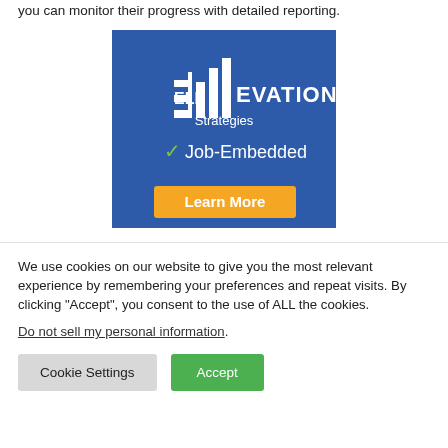you can monitor their progress with detailed reporting.
[Figure (logo): Ellevation Strategies advertisement banner with blue background showing 'ELL EVATION Strategies' logo with bar chart icons, green checkmark and 'Job-Embedded' text, and orange 'Learn More' button at bottom]
We use cookies on our website to give you the most relevant experience by remembering your preferences and repeat visits. By clicking "Accept", you consent to the use of ALL the cookies.
Do not sell my personal information.
Cookie Settings
Accept